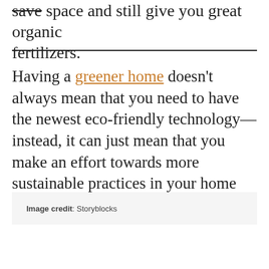save space and still give you great organic fertilizers.
Having a greener home doesn't always mean that you need to have the newest eco-friendly technology—instead, it can just mean that you make an effort towards more sustainable practices in your home and garden.
Image credit: Storyblocks